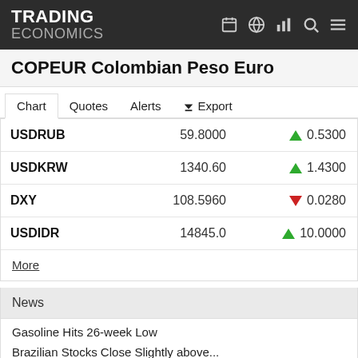TRADING ECONOMICS
COPEUR Colombian Peso Euro
Chart  Quotes  Alerts  Export
| Symbol | Price | Change | % Change |
| --- | --- | --- | --- |
| USDRUB | 59.8000 | ▲ 0.5500 | 0.95% |
| USDKRW | 1340.60 | ▲ 1.4300 | 0.11% |
| DXY | 108.5960 | ▼ 0.0280 | -0.03% |
| USDIDR | 14845.0 | ▲ 10.0000 | 0.07% |
More
News
Gasoline Hits 26-week Low
Brazilian Stocks Close Slightly above...
Canadian Stocks Edge Higher on Wednes...
Wall Street Closes with Moderate Gain...
US 10-Year Treasury Yield Approaches...